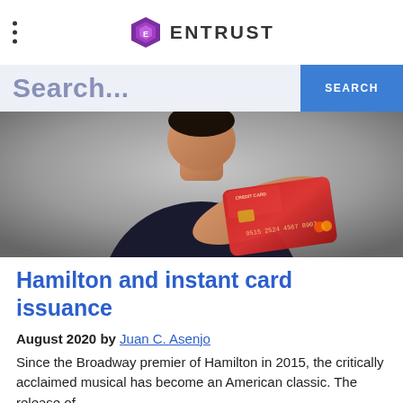ENTRUST
Search...
[Figure (photo): Man in dark jacket holding a red credit card toward the camera against a grey background]
Hamilton and instant card issuance
August 2020 by Juan C. Asenjo
Since the Broadway premier of Hamilton in 2015, the critically acclaimed musical has become an American classic. The release of